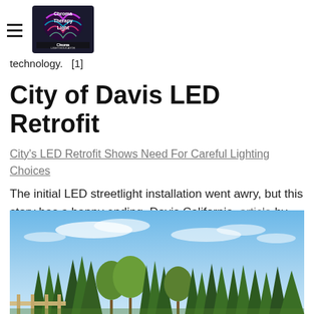Chroma Therapy Light
technology.  [1]
City of Davis LED Retrofit
City's LED Retrofit Shows Need For Careful Lighting Choices
The initial LED streetlight installation went awry, but this story has a happy ending. Davis California, article by James Benya. [2]
[Figure (photo): Outdoor photograph showing a row of trees (evergreen and deciduous) against a blue sky with light clouds, with a fence visible at the bottom left.]